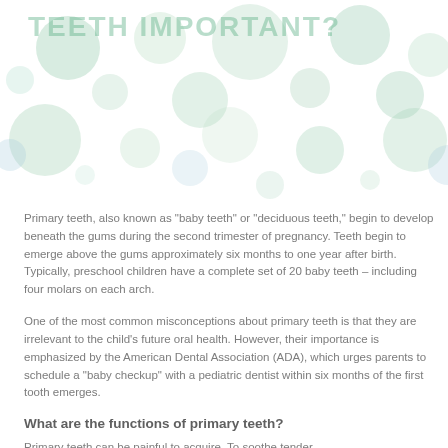TEETH IMPORTANT?
Primary teeth, also known as "baby teeth" or "deciduous teeth," begin to develop beneath the gums during the second trimester of pregnancy. Teeth begin to emerge above the gums approximately six months to one year after birth. Typically, preschool children have a complete set of 20 baby teeth – including four molars on each arch.
One of the most common misconceptions about primary teeth is that they are irrelevant to the child's future oral health. However, their importance is emphasized by the American Dental Association (ADA), which urges parents to schedule a "baby checkup" with a pediatric dentist within six months of the first tooth emerges.
What are the functions of primary teeth?
Primary teeth can be painful to acquire. To soothe tender...